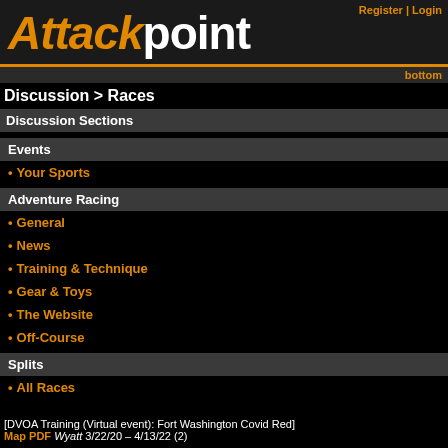Register | Login
Attackpoint
bottom
Discussion > Races
Discussion Sections
Events
Your Sports
Adventure Racing
General
News
Training & Technique
Gear & Toys
The Website
Off-Course
Splits
All Races
[DVOA Training (Virtual event): Fort Washington Covid Red] Map PDF Wyatt 3/22/20 – 4/13/22 (2)